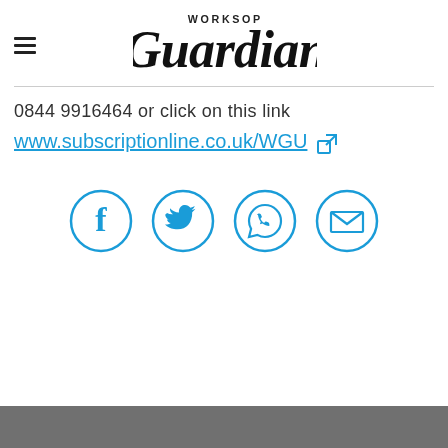Worksop Guardian
0844 9916464 or click on this link
www.subscriptionline.co.uk/WGU
[Figure (infographic): Four circular social media / contact icons in blue outline style: Facebook (f), Twitter (bird), WhatsApp (phone handset in speech bubble), Email (envelope)]